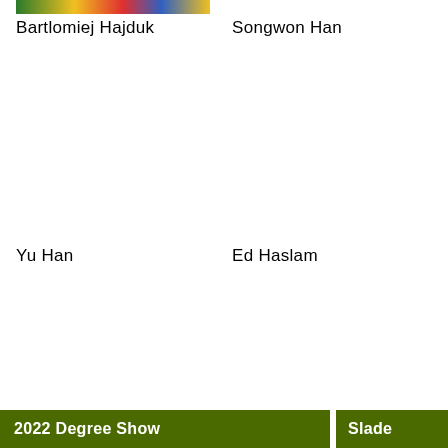[Figure (photo): Colorful artwork image strip at top left of page]
Bartlomiej Hajduk
Songwon Han
Yu Han
Ed Haslam
2022 Degree Show
Slade